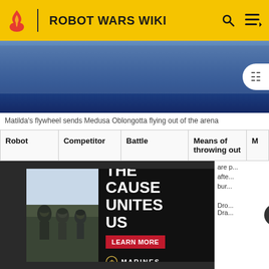ROBOT WARS WIKI
[Figure (photo): Blurred action photo from Robot Wars arena, blue background, Matilda's flywheel sending a robot flying]
Matilda's flywheel sends Medusa Oblongotta flying out of the arena
| Robot | Competitor | Battle | Means of throwing out | M |
| --- | --- | --- | --- | --- |
| Sir Killalot | Night Stalker | Heat E, Round 1 | Jaws of Life | Dro... Nig... |
| Sir Killalot | ... | ... | Life | Dro... Dra... |
[Figure (screenshot): US Marines advertisement: 'THE CAUSE UNITES US' with soldiers image and LEARN MORE button and Marines logo]